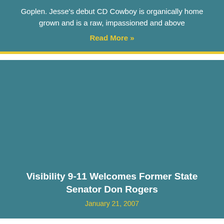Goplen.  Jesse's debut CD Cowboy is organically home grown and is a raw, impassioned and above
Read More »
[Figure (other): Teal/blue-grey rectangular image placeholder area for article about Visibility 9-11]
Visibility 9-11 Welcomes Former State Senator Don Rogers
January 21, 2007